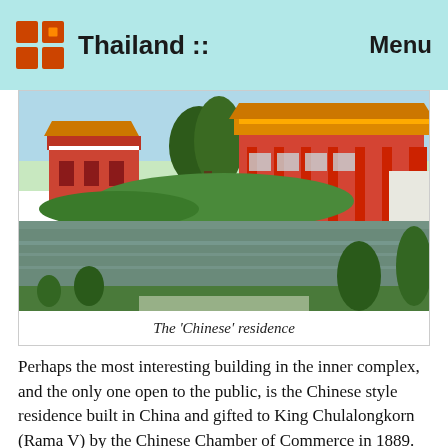Thailand :: Menu
[Figure (photo): Photo of a Chinese-style palace/residence complex with red columns, yellow-tiled roofs, surrounded by green lawns and a reflective pond in the foreground. Tall trees visible in the background.]
The 'Chinese' residence
Perhaps the most interesting building in the inner complex, and the only one open to the public, is the Chinese style residence built in China and gifted to King Chulalongkorn (Rama V) by the Chinese Chamber of Commerce in 1889. You must remove your shoes to enter and enjoy the ebony and red lacquer interior.